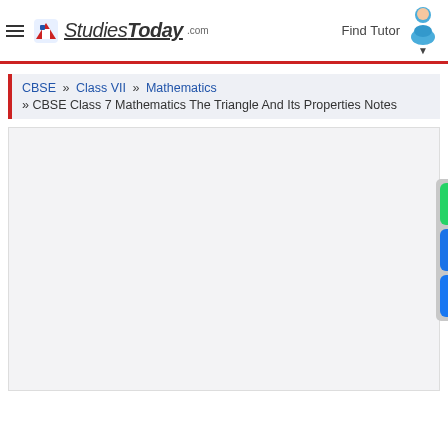StudiesToday.com — Find Tutor
CBSE » Class VII » Mathematics » CBSE Class 7 Mathematics The Triangle And Its Properties Notes
[Figure (screenshot): Large empty/loading content area with light gray background, showing a blank advertisement or document content region]